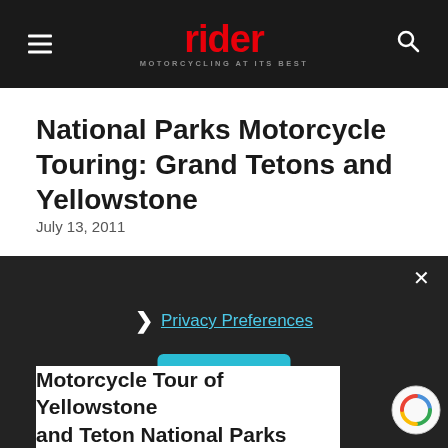rider — MOTORCYCLING AT ITS BEST
National Parks Motorcycle Touring: Grand Tetons and Yellowstone
July 13, 2011
Privacy Preferences
I Agree
Motorcycle Tour of Yellowstone and Teton National Parks